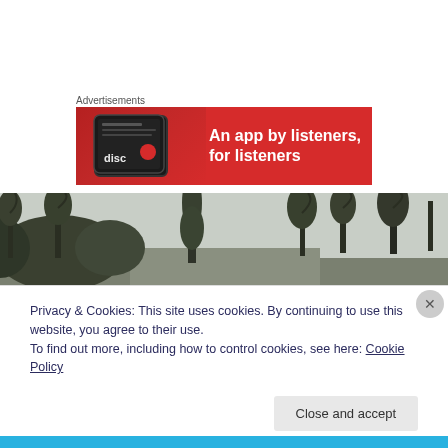Advertisements
[Figure (infographic): Red advertisement banner with a smartphone showing a music app logo on the left, and bold white text on the right reading 'An app by listeners, for listeners']
[Figure (photo): Outdoor photograph of bare winter trees and tall hedgerows along a road, overcast sky in background]
Privacy & Cookies: This site uses cookies. By continuing to use this website, you agree to their use.
To find out more, including how to control cookies, see here: Cookie Policy
Close and accept